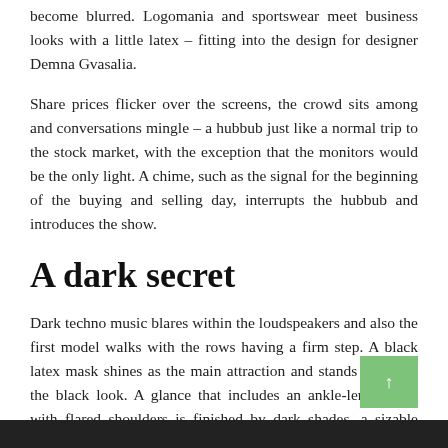become blurred. Logomania and sportswear meet business looks with a little latex – fitting into the design for designer Demna Gvasalia.
Share prices flicker over the screens, the crowd sits among and conversations mingle – a hubbub just like a normal trip to the stock market, with the exception that the monitors would be the only light. A chime, such as the signal for the beginning of the buying and selling day, interrupts the hubbub and introduces the show.
A dark secret
Dark techno music blares within the loudspeakers and also the first model walks with the rows having a firm step. A black latex mask shines as the main attraction and stands out from the black look. A glance that includes an ankle-length coat with flared shoulders is finished by dark shades, a sizable neck scarf and stiff latex mitts.